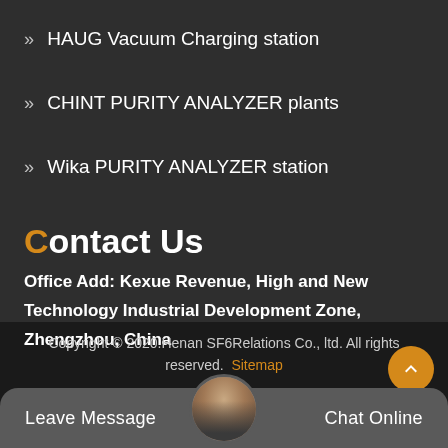» HAUG Vacuum Charging station
» CHINT PURITY ANALYZER plants
» Wika PURITY ANALYZER station
Contact Us
Office Add: Kexue Revenue, High and New Technology Industrial Development Zone, Zhengzhou, China
Copyright © 2020.Henan SF6Relations Co., ltd. All rights reserved. Sitemap
Leave Message
Chat Online